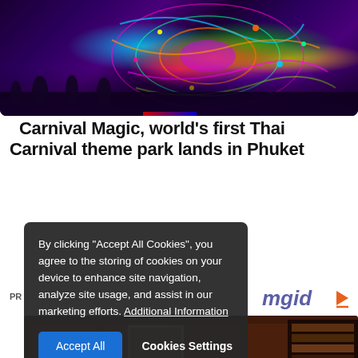[Figure (photo): Colorful Thai carnival neon light art display with crowd silhouettes at bottom, featuring intricate peacock/floral patterns in purple, green, orange, pink colors on dark background]
Carnival Magic, world's first Thai Carnival theme park lands in Phuket
By clicking "Accept All Cookies", you agree to the storing of cookies on your device to enhance site navigation, analyze site usage, and assist in our marketing efforts. Additional Information
Accept All | Cookies Settings
[Figure (photo): Elderly bald man in dark suit seated on brown leather sofa in wood-paneled room with paintings and bookshelves]